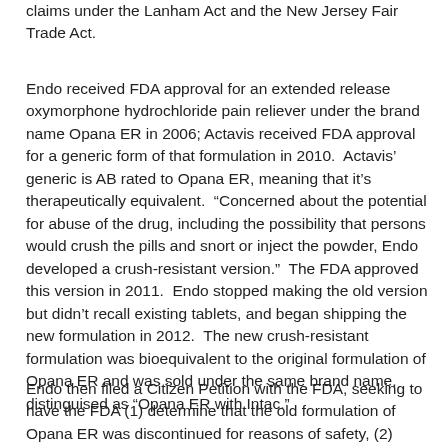claims under the Lanham Act and the New Jersey Fair Trade Act.
Endo received FDA approval for an extended release oxymorphone hydrochloride pain reliever under the brand name Opana ER in 2006; Actavis received FDA approval for a generic form of that formulation in 2010.  Actavis' generic is AB rated to Opana ER, meaning that it's therapeutically equivalent.  “Concerned about the potential for abuse of the drug, including the possibility that persons would crush the pills and snort or inject the powder, Endo developed a crush-resistant version.”  The FDA approved this version in 2011.  Endo stopped making the old version but didn’t recall existing tablets, and began shipping the new formulation in 2012.  The new crush-resistant formulation was bioequivalent to the original formulation of Opana ER and was sold under the same brand name, distinguised as “Opana ER with Intac.”
Endo then filed a Citizen Petition with the FDA, seeking to have the FDA (1) determine that the old formulation of Opana ER was discontinued for reasons of safety, (2) refuse